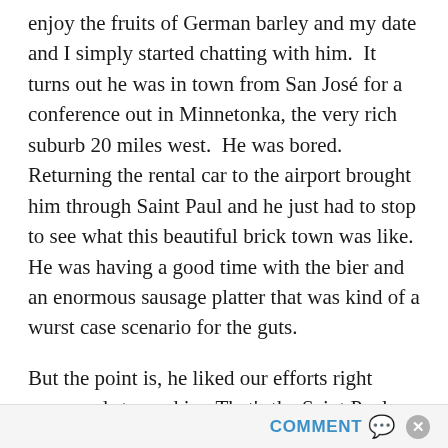enjoy the fruits of German barley and my date and I simply started chatting with him.  It turns out he was in town from San José for a conference out in Minnetonka, the very rich suburb 20 miles west.  He was bored.  Returning the rental car to the airport brought him through Saint Paul and he just had to stop to see what this beautiful brick town was like.  He was having a good time with the bier and an enormous sausage platter that was kind of a wurst case scenario for the guts.
But the point is, he liked our efforts right away and stopped in.  That's the Saint Paul Moment at the other end.  People notice what we do.
COMMENT